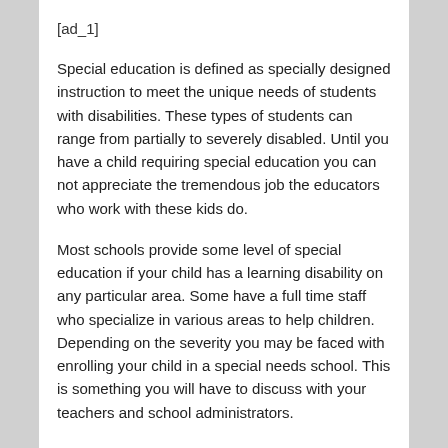[ad_1]
Special education is defined as specially designed instruction to meet the unique needs of students with disabilities. These types of students can range from partially to severely disabled. Until you have a child requiring special education you can not appreciate the tremendous job the educators who work with these kids do.
Most schools provide some level of special education if your child has a learning disability on any particular area. Some have a full time staff who specialize in various areas to help children. Depending on the severity you may be faced with enrolling your child in a special needs school. This is something you will have to discuss with your teachers and school administrators.
There are many excellent online resources for parents to research and learn things they can do to help their child as well. Just Google searching the keyword phrase